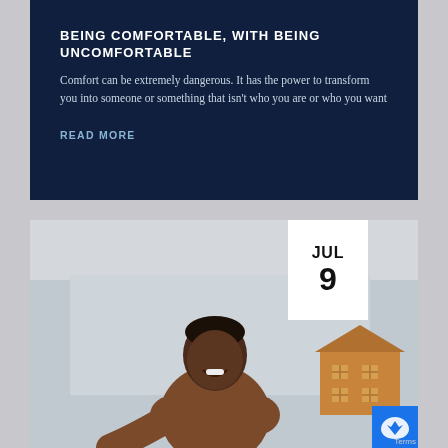BEING COMFORTABLE, WITH BEING UNCOMFORTABLE
Comfort can be extremely dangerous. It has the power to transform you into someone or something that isn't who you are or who you want
READ MORE
[Figure (photo): Date badge showing JUL 9 overlaid on a photo of a smiling man in a brown shirt, seated, with a cardboard house cutout visible in the background]
Terms